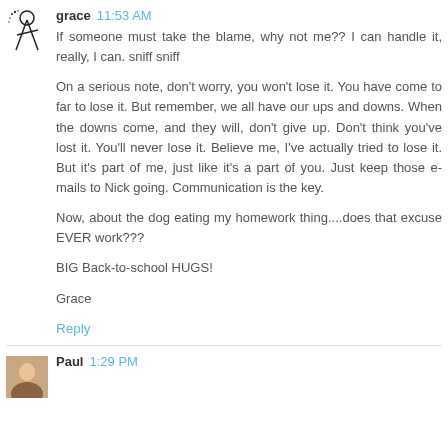[Figure (illustration): Small black and white avatar icon of a figure]
grace 11:53 AM
If someone must take the blame, why not me?? I can handle it, really, I can. sniff sniff

On a serious note, don't worry, you won't lose it. You have come to far to lose it. But remember, we all have our ups and downs. When the downs come, and they will, don't give up. Don't think you've lost it. You'll never lose it. Believe me, I've actually tried to lose it. But it's part of me, just like it's a part of you. Just keep those e-mails to Nick going. Communication is the key.

Now, about the dog eating my homework thing....does that excuse EVER work???

BIG Back-to-school HUGS!

Grace
Reply
[Figure (photo): Small color avatar photo of Paul]
Paul 1:29 PM